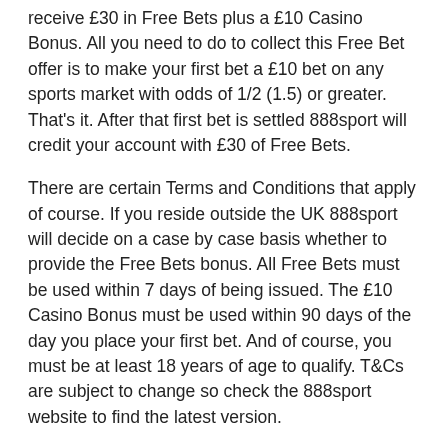receive £30 in Free Bets plus a £10 Casino Bonus. All you need to do to collect this Free Bet offer is to make your first bet a £10 bet on any sports market with odds of 1/2 (1.5) or greater. That's it. After that first bet is settled 888sport will credit your account with £30 of Free Bets.
There are certain Terms and Conditions that apply of course. If you reside outside the UK 888sport will decide on a case by case basis whether to provide the Free Bets bonus. All Free Bets must be used within 7 days of being issued. The £10 Casino Bonus must be used within 90 days of the day you place your first bet. And of course, you must be at least 18 years of age to qualify. T&Cs are subject to change so check the 888sport website to find the latest version.
Overview
The 888sport app and mobile website provide all the core features of the desktop version of the site. There is no drop off in quality and to tell the truth, if we had to choose one version of the site over all others we would choose the mobile app. It's